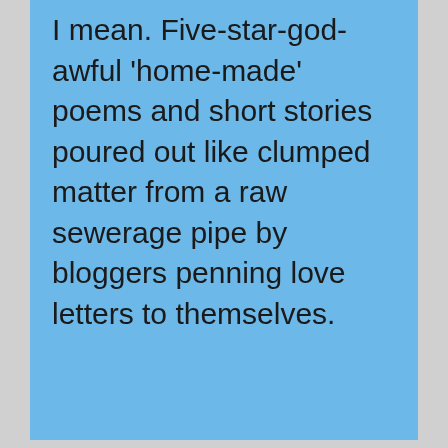I mean. Five-star-god-awful 'home-made' poems and short stories poured out like clumped matter from a raw sewerage pipe by bloggers penning love letters to themselves.
Bloggers who appear to believe that just because they own the domain (or maybe they don't) that somehow gives them the right to inflict miserable literary dross only they can see the brilliance of on